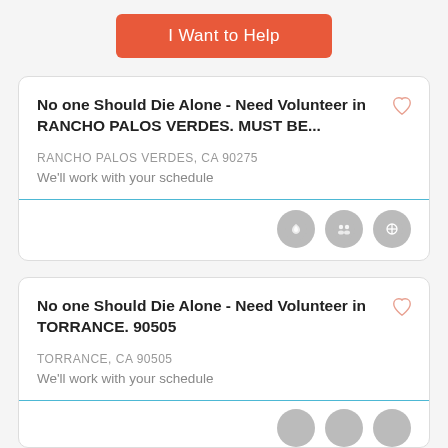I Want to Help
No one Should Die Alone - Need Volunteer in RANCHO PALOS VERDES. MUST BE...
RANCHO PALOS VERDES, CA 90275
We'll work with your schedule
No one Should Die Alone - Need Volunteer in TORRANCE. 90505
TORRANCE, CA 90505
We'll work with your schedule